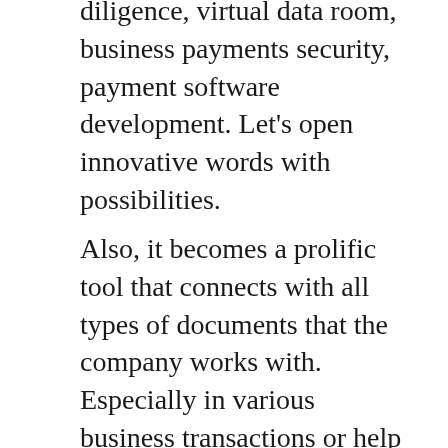diligence, virtual data room, business payments security, payment software development. Let's open innovative words with possibilities.
Also, it becomes a prolific tool that connects with all types of documents that the company works with.  Especially in various business transactions or help in preparation for a particular meeting. Every data room due diligence is a highly secure program as only logged users as only they can have access to them. Data room due diligence https://datenraume.de/due-diligence/ includes more effective and safe features that help in the working routine. It has several advantages such as secure share files and has valuable